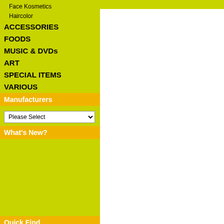Face Kosmetics
Haircolor
ACCESSORIES
FOODS
MUSIC & DVDs
ART
SPECIAL ITEMS
VARIOUS
Manufacturers
Please Select
What's New?
[Figure (other): Product image placeholder for MURRAY'S HAIR-GLO (Coconut, Lanolin)]
MURRAY´S HAIR-GLO
(Coconut, Lanolin)
$6.07
Quick Find